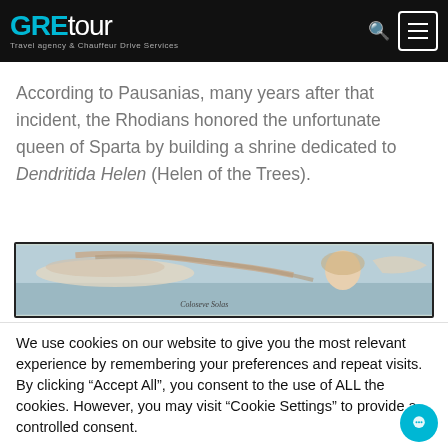GREtour — Travel agency & Chauffeur Drive Services
According to Pausanias, many years after that incident, the Rhodians honored the unfortunate queen of Sparta by building a shrine dedicated to Dendritida Helen (Helen of the Trees).
[Figure (illustration): Partial illustration of a classical painting or engraving showing figures, with text 'Coloseve Solas' visible.]
We use cookies on our website to give you the most relevant experience by remembering your preferences and repeat visits. By clicking "Accept All", you consent to the use of ALL the cookies. However, you may visit "Cookie Settings" to provide a controlled consent.